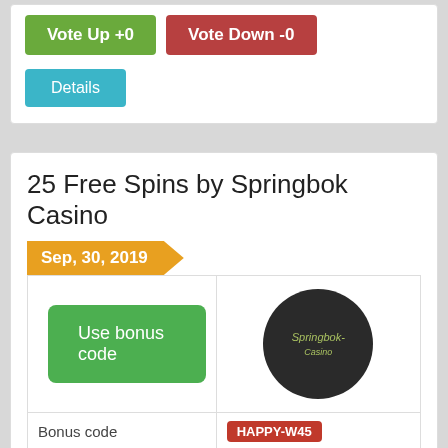[Figure (other): Vote Up +0 and Vote Down -0 buttons, green and red respectively]
Details
25 Free Spins by Springbok Casino
Sep, 30, 2019
[Figure (logo): Springbok Casino circular dark logo]
Use bonus code
| Field | Value |
| --- | --- |
| Bonus code | HAPPY-W45 |
| Amount | 25 |
| Casino | Springbok Casino |
| Expire | 1055 days ago (Sep 30, 2019) |